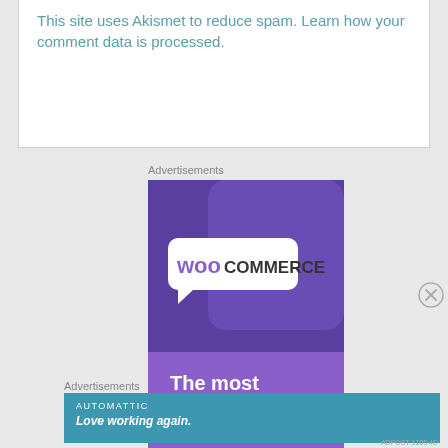This site uses Akismet to reduce spam. Learn how your comment data is processed.
Advertisements
[Figure (logo): WooCommerce advertisement banner with purple gradient background showing WooCommerce logo and text 'The most customizable']
[Figure (illustration): Close/dismiss button (circled X)]
Advertisements
[Figure (logo): Automattic advertisement banner with teal background showing 'AUTOMATTIC' and tagline 'Love working again.']
ADPOST 1105 4D